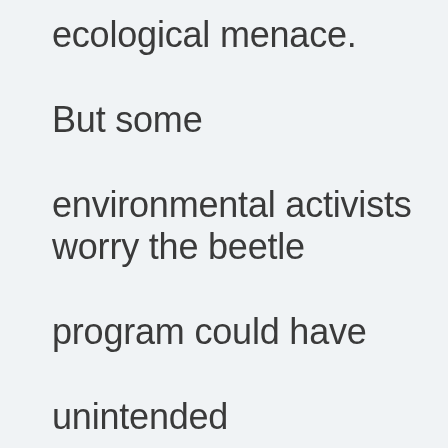ecological menace. But some environmental activists worry the beetle program could have unintended consequences.